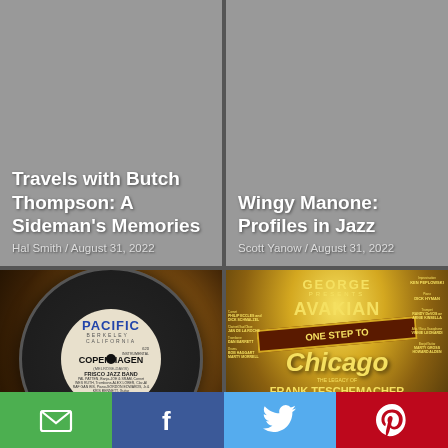[Figure (illustration): Gray placeholder image for 'Travels with Butch Thompson: A Sideman's Memories']
Travels with Butch Thompson: A Sideman's Memories
Hal Smith / August 31, 2022
[Figure (illustration): Gray placeholder image for 'Wingy Manone: Profiles in Jazz']
Wingy Manone: Profiles in Jazz
Scott Yanow / August 31, 2022
[Figure (photo): Photo of a Pacific Records 78rpm vinyl record label showing 'Copenhagen' by Frisco Jazz Band, catalog number 620, MS-148]
[Figure (photo): Photo of album cover: George Avakian Presents 'One Step to Chicago - The Legacy of Frank Teschemacher and the Austin High Gang', transcribed and directed by Dick Hyman]